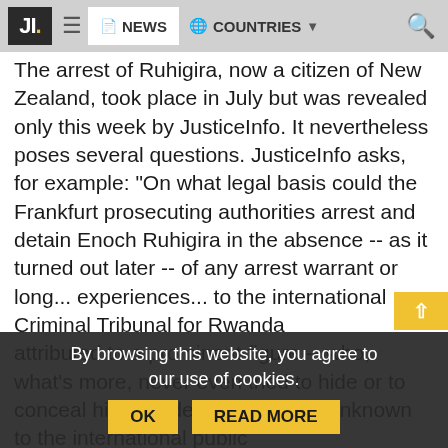JI. NEWS COUNTRIES
The arrest of Ruhigira, now a citizen of New Zealand, took place in July but was revealed only this week by JusticeInfo. It nevertheless poses several questions. JusticeInfo asks, for example: “On what legal basis could the Frankfurt prosecuting authorities arrest and detain Enoch Ruhigira in the absence -- as it turned out later -- of any arrest warrant or Interpol notification?” Another question of substance is: “How can such serious crimes attributed to a prominent figure -- who, what’s more, never even tried to hide or to conceal his real identity -- remain unknown to the international public long... experiences... to the international Criminal Tribunal for Rwanda
By browsing this website, you agree to our use of cookies.
OK
READ MORE